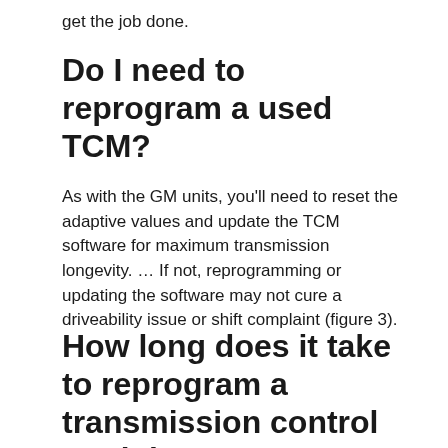get the job done.
Do I need to reprogram a used TCM?
As with the GM units, you’ll need to reset the adaptive values and update the TCM software for maximum transmission longevity. … If not, reprogramming or updating the software may not cure a driveability issue or shift complaint (figure 3).
How long does it take to reprogram a transmission control module?